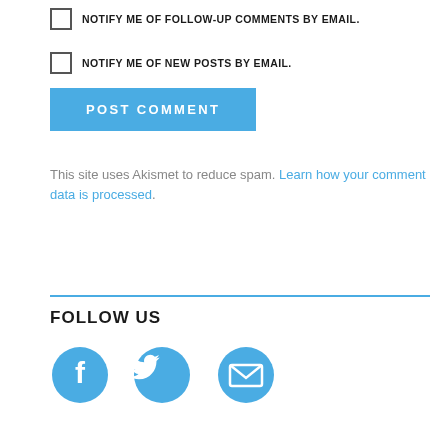NOTIFY ME OF FOLLOW-UP COMMENTS BY EMAIL.
NOTIFY ME OF NEW POSTS BY EMAIL.
POST COMMENT
This site uses Akismet to reduce spam. Learn how your comment data is processed.
FOLLOW US
[Figure (illustration): Three social media icons: Facebook (circle with 'f'), Twitter (bird), and Email (envelope), all in blue color (#4aace3)]